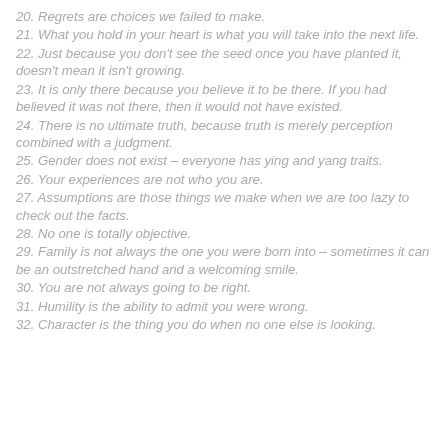20. Regrets are choices we failed to make.
21. What you hold in your heart is what you will take into the next life.
22. Just because you don't see the seed once you have planted it, doesn't mean it isn't growing.
23. It is only there because you believe it to be there. If you had believed it was not there, then it would not have existed.
24. There is no ultimate truth, because truth is merely perception combined with a judgment.
25. Gender does not exist – everyone has ying and yang traits.
26. Your experiences are not who you are.
27. Assumptions are those things we make when we are too lazy to check out the facts.
28. No one is totally objective.
29. Family is not always the one you were born into – sometimes it can be an outstretched hand and a welcoming smile.
30. You are not always going to be right.
31. Humility is the ability to admit you were wrong.
32. Character is the thing you do when no one else is looking.